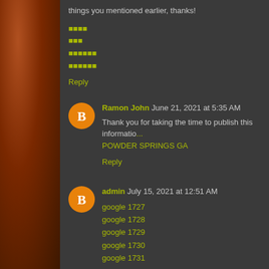things you mentioned earlier, thanks!
aaaa
aaa
aaaaaa
aaaaaa
Reply
Ramon John  June 21, 2021 at 5:35 AM
Thank you for taking the time to publish this informatio... POWDER SPRINGS GA
Reply
admin  July 15, 2021 at 12:51 AM
google 1727
google 1728
google 1729
google 1730
google 1731
Reply